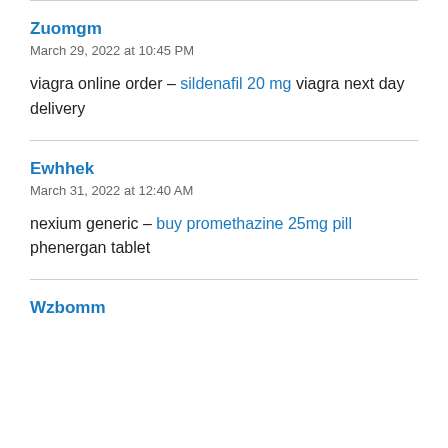Zuomgm
March 29, 2022 at 10:45 PM
viagra online order – sildenafil 20 mg viagra next day delivery
Ewhhek
March 31, 2022 at 12:40 AM
nexium generic – buy promethazine 25mg pill phenergan tablet
Wzbomm